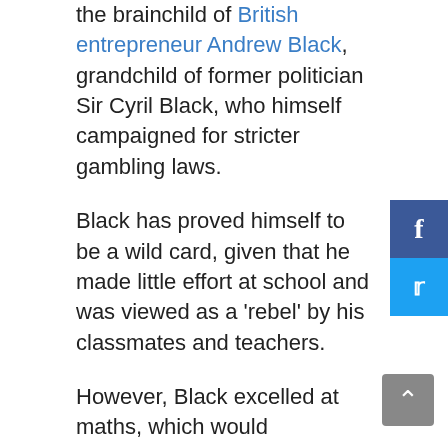the brainchild of British entrepreneur Andrew Black, grandchild of former politician Sir Cyril Black, who himself campaigned for stricter gambling laws.
Black has proved himself to be a wild card, given that he made little effort at school and was viewed as a 'rebel' by his classmates and teachers.
However, Black excelled at maths, which would eventually lead him onto a Computer Science course at Exeter University, despite his seeming reluctance to learn. However, his time as a student would be short-lived, as he was removed from the course ahead of his second